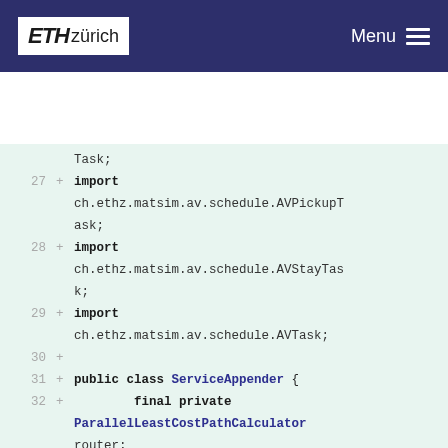ETH zürich  Menu
[Figure (screenshot): Code diff screenshot showing Java import statements and class definition for ServiceAppender, lines 27-36, on light green background]